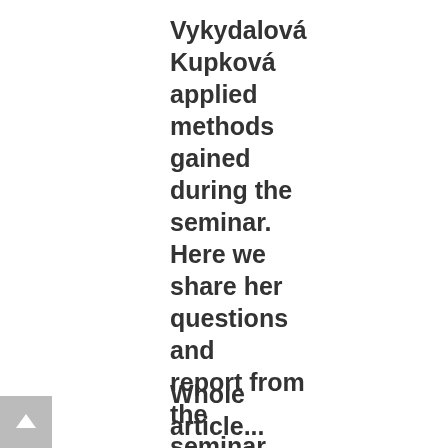Vykydalová Kupková applied methods gained during the seminar. Here we share her questions and report from the seminar.
Whole article...